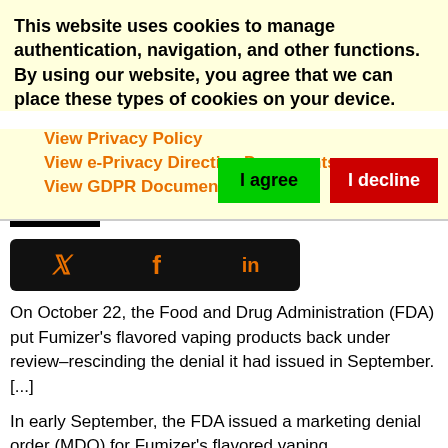This website uses cookies to manage authentication, navigation, and other functions. By using our website, you agree that we can place these types of cookies on your device.
View Privacy Policy
View e-Privacy Directive Documents
View GDPR Documents
I agree  |  I decline
[Figure (infographic): Social media icons bar with Twitter (bird), Facebook (f), and LinkedIn (in) icons on black background]
On October 22, the Food and Drug Administration (FDA) put Fumizer's flavored vaping products back under review–rescinding the denial it had issued in September. [...]
In early September, the FDA issued a marketing denial order (MDO) for Fumizer's flavored vaping